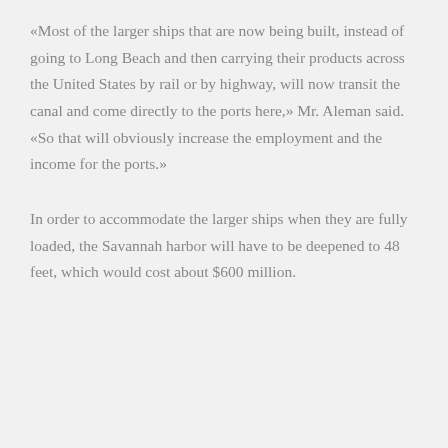«Most of the larger ships that are now being built, instead of going to Long Beach and then carrying their products across the United States by rail or by highway, will now transit the canal and come directly to the ports here,» Mr. Aleman said. «So that will obviously increase the employment and the income for the ports.»
In order to accommodate the larger ships when they are fully loaded, the Savannah harbor will have to be deepened to 48 feet, which would cost about $600 million.